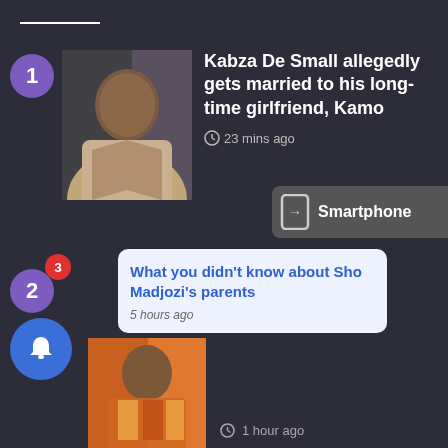1 — Kabza De Small allegedly gets married to his long-time girlfriend, Kamo — 23 mins ago
[Figure (photo): Photo of a man in a beige suit with polka dot tie, looking down]
2 — What you didn't know about Sho Madjozi's parents — 5 hours ago
1 hour ago
[Figure (screenshot): Smartphone widget with arrow icon and label 'Smartphone']
[Figure (photo): Thumbnail photo of person in colorful outfit]
Smartphone